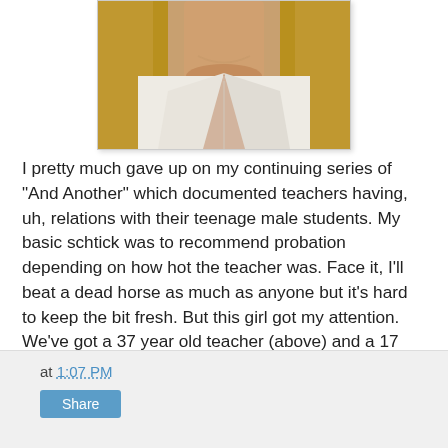[Figure (photo): Cropped photo of a blonde woman wearing a white collared shirt, showing neck and upper chest area only]
I pretty much gave up on my continuing series of "And Another" which documented teachers having, uh, relations with their teenage male students. My basic schtick was to recommend probation depending on how hot the teacher was. Face it, I'll beat a dead horse as much as anyone but it's hard to keep the bit fresh. But this girl got my attention. We've got a 37 year old teacher (above) and a 17 year old student. Verdict: Oh, my. Edit: Completely unrelated, but check out the craziest book-in photo from Denton last weekend.
at 1:07 PM  Share